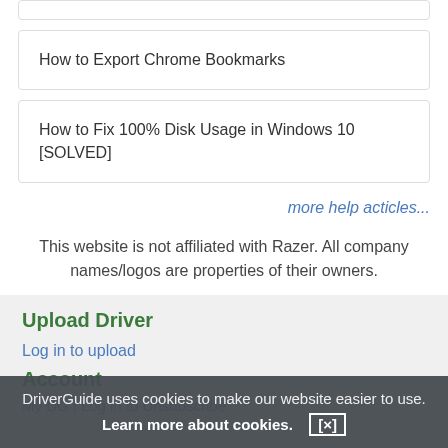How to Export Chrome Bookmarks
How to Fix 100% Disk Usage in Windows 10 [SOLVED]
more help acticles...
This website is not affiliated with Razer. All company names/logos are properties of their owners.
Upload Driver
Log in to upload
Account
My DG | Log in to Unsubscribe
DriverGuide uses cookies to make our website easier to use. Learn more about cookies. [×]